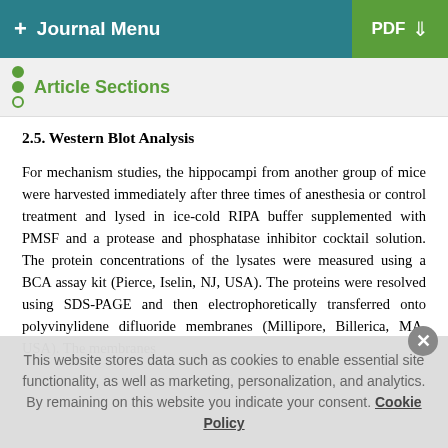+ Journal Menu | PDF ↓
Article Sections
2.5. Western Blot Analysis
For mechanism studies, the hippocampi from another group of mice were harvested immediately after three times of anesthesia or control treatment and lysed in ice-cold RIPA buffer supplemented with PMSF and a protease and phosphatase inhibitor cocktail solution. The protein concentrations of the lysates were measured using a BCA assay kit (Pierce, Iselin, NJ, USA). The proteins were resolved using SDS-PAGE and then electrophoretically transferred onto polyvinylidene difluoride membranes (Millipore, Billerica, MA, USA). The membranes
This website stores data such as cookies to enable essential site functionality, as well as marketing, personalization, and analytics. By remaining on this website you indicate your consent. Cookie Policy